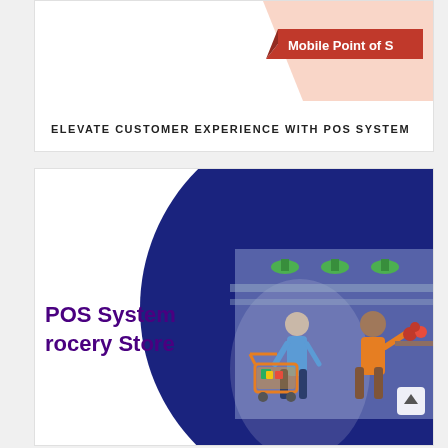[Figure (illustration): Top card showing a partial infographic about Mobile Point of Sale with a salmon/peach colored background and a red banner reading 'Mobile Point of S...' (truncated)]
ELEVATE CUSTOMER EXPERIENCE WITH POS SYSTEM
[Figure (illustration): Bottom card showing POS System for Grocery Store with a large dark blue circular graphic and an illustration of two people shopping with a grocery cart in a store interior with green hanging lights]
POS System
rocery Store